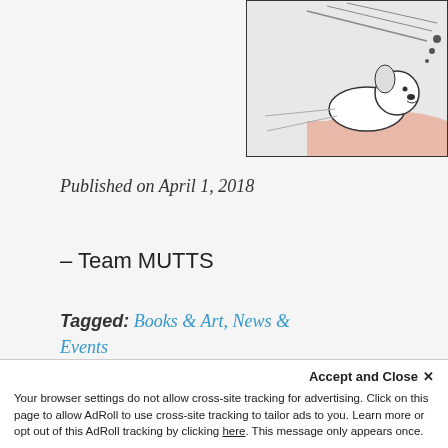[Figure (illustration): Comic strip panel showing a cartoon animal character (dog or similar) lying down, partially visible with motion lines, on a light pink/peach surface. Partial view top-right corner of page.]
Published on April 1, 2018
– Team MUTTS
Tagged: Books & Art, News & Events
[Figure (infographic): Social sharing icons: Facebook (blue), Pinterest (red), Twitter (blue), RSS feed (grey)]
Comments (3)
Accept and Close ×
Your browser settings do not allow cross-site tracking for advertising. Click on this page to allow AdRoll to use cross-site tracking to tailor ads to you. Learn more or opt out of this AdRoll tracking by clicking here. This message only appears once.